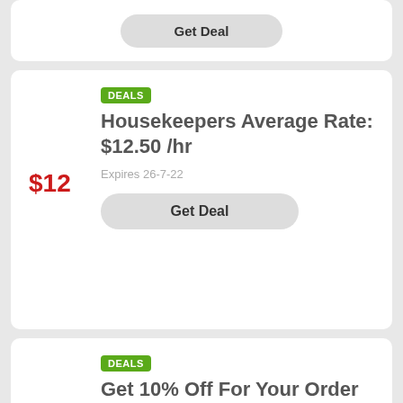Get Deal
DEALS
Housekeepers Average Rate: $12.50 /hr
$12
Expires 26-7-22
Get Deal
DEALS
Get 10% Off For Your Order
10%
Expires 12-8-22
Get Deal